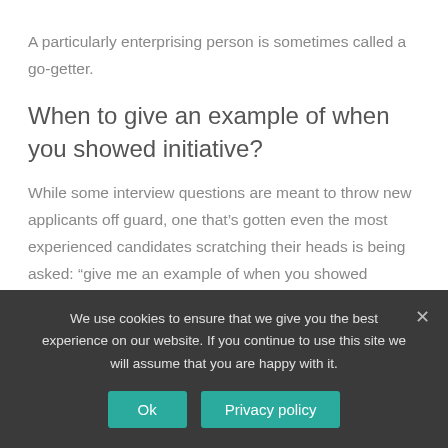A particularly enterprising person is sometimes called a go-getter.
When to give an example of when you showed initiative?
While some interview questions are meant to throw new applicants off guard, one that’s gotten even the most experienced candidates scratching their heads is being asked: “give me an example of when you showed initiative”.
We use cookies to ensure that we give you the best experience on our website. If you continue to use this site we will assume that you are happy with it.